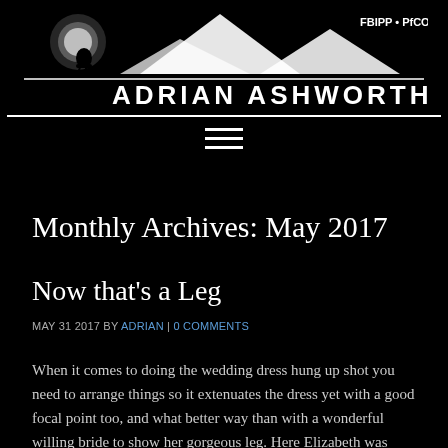[Figure (logo): Adrian Ashworth photography logo with mountain silhouette and moon on black background, text reads FBIPP • PfCO and ADRIAN ASHWORTH]
≡
Monthly Archives: May 2017
Now that's a Leg
MAY 31 2017 BY ADRIAN | 0 COMMENTS
When it comes to doing the wedding dress hung up shot you need to arrange things so it extenuates the dress yet with a good focal point too, and what better way than with a wonderful willing bride to show her gorgeous leg. Here Elizabeth was stood to the left in her PJ shorts and top perched precariously on another chair while Wayne assisted me by holding the ceiling lampshade out of shot. It took us several attempts but I think we nailed it in the end. Very sexy shot with the dress and garter